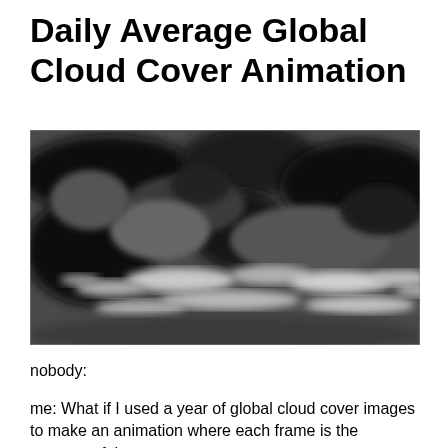Daily Average Global Cloud Cover Animation
[Figure (photo): A grayscale global cloud cover image showing swirling cloud patterns over a world map, with dark regions indicating low cloud cover and bright/white areas indicating high cloud density, primarily concentrated in horizontal bands.]
nobody:
me: What if I used a year of global cloud cover images to make an animation where each frame is the average of the